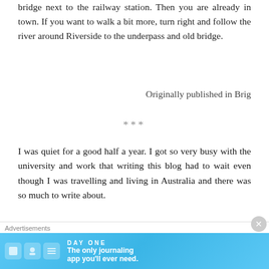bridge next to the railway station. Then you are already in town. If you want to walk a bit more, turn right and follow the river around Riverside to the underpass and old bridge.
Originally published in Brig
***
I was quiet for a good half a year. I got so very busy with the university and work that writing this blog had to wait even though I was travelling and living in Australia and there was so much to write about.
Advertisements
[Figure (screenshot): DAY ONE journaling app advertisement banner with blue background, app icons, and tagline 'The only journaling app you'll ever need.']